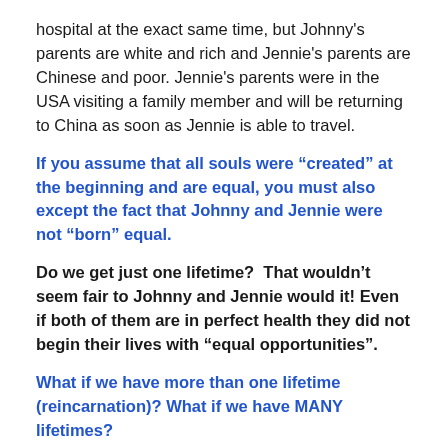hospital at the exact same time, but Johnny's parents are white and rich and Jennie's parents are Chinese and poor. Jennie's parents were in the USA visiting a family member and will be returning to China as soon as Jennie is able to travel.
If you assume that all souls were “created” at the beginning and are equal, you must also except the fact that Johnny and Jennie were not “born” equal.
Do we get just one lifetime?  That wouldn’t seem fair to Johnny and Jennie would it! Even if both of them are in perfect health they did not begin their lives with “equal opportunities”.
What if we have more than one lifetime (reincarnation)? What if we have MANY lifetimes?